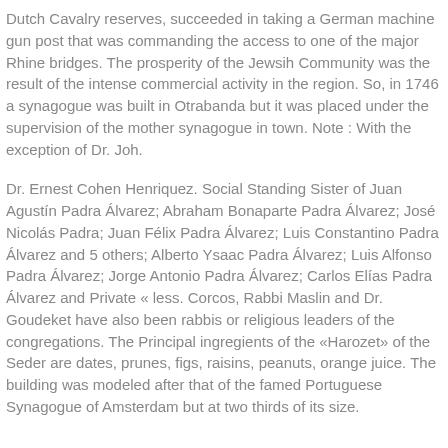Dutch Cavalry reserves, succeeded in taking a German machine gun post that was commanding the access to one of the major Rhine bridges. The prosperity of the Jewsih Community was the result of the intense commercial activity in the region. So, in 1746 a synagogue was built in Otrabanda but it was placed under the supervision of the mother synagogue in town. Note : With the exception of Dr. Joh.
Dr. Ernest Cohen Henriquez. Social Standing Sister of Juan Agustín Padra Álvarez; Abraham Bonaparte Padra Álvarez; José Nicolás Padra; Juan Félix Padra Álvarez; Luis Constantino Padra Álvarez and 5 others; Alberto Ysaac Padra Álvarez; Luis Alfonso Padra Álvarez; Jorge Antonio Padra Álvarez; Carlos Elías Padra Álvarez and Private « less. Corcos, Rabbi Maslin and Dr. Goudeket have also been rabbis or religious leaders of the congregations. The Principal ingregients of the «Harozet» of the Seder are dates, prunes, figs, raisins, peanuts, orange juice. The building was modeled after that of the famed Portuguese Synagogue of Amsterdam but at two thirds of its size.